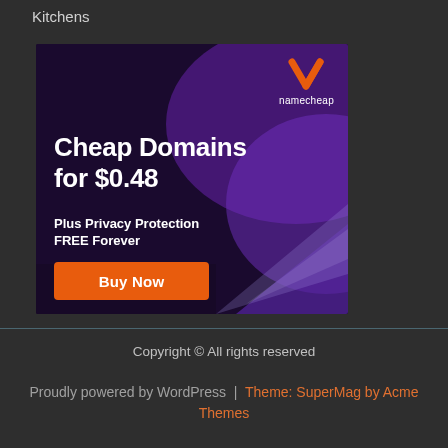Kitchens
[Figure (infographic): Namecheap advertisement banner with dark purple background. Shows Namecheap logo (orange N chevron icon and 'namecheap' text) in top right. Large white bold text reads 'Cheap Domains for $0.48'. Below: 'Plus Privacy Protection FREE Forever'. Orange 'Buy Now' button at bottom left.]
Copyright © All rights reserved
Proudly powered by WordPress | Theme: SuperMag by Acme Themes